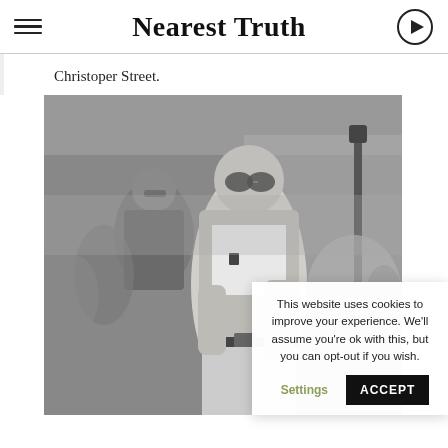Nearest Truth
Christoper Street.
[Figure (photo): Black and white street photograph on Christopher Street showing a man in sunglasses, denim jacket, and jeans walking among a crowd of people]
This website uses cookies to improve your experience. We'll assume you're ok with this, but you can opt-out if you wish.